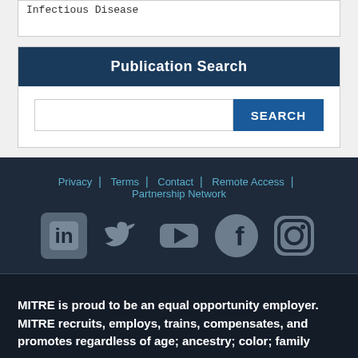Infectious Disease
Publication Search
[Figure (screenshot): Publication search bar with text input field and SEARCH button]
Privacy | Terms | Contact | Remote Access | Partnership Network
[Figure (infographic): Social media icons: LinkedIn, Twitter, YouTube, Facebook, Instagram]
MITRE is proud to be an equal opportunity employer. MITRE recruits, employs, trains, compensates, and promotes regardless of age; ancestry; color; family